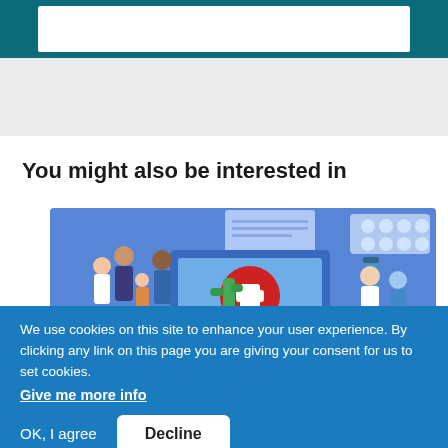[Figure (screenshot): Website header bar with teal/dark blue background and white inner rectangle (search or nav bar)]
You might also be interested in
[Figure (illustration): Isometric medical illustration showing a laptop with a red cross, a family group, a doctor and patient, medical pills, and a plant on a blue background]
We use cookies on this site to enhance your user experience. By clicking any link on this page you are giving your consent for us to set cookies.
Give me more info
OK, I agree
Decline